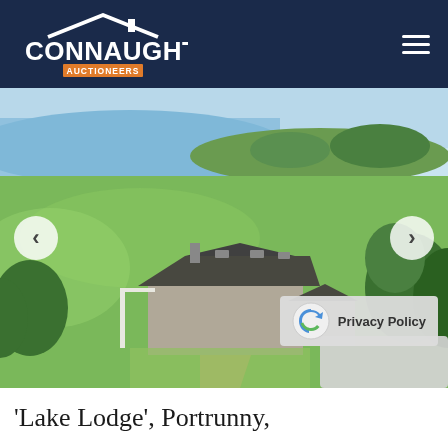Connaughton Auctioneers
[Figure (photo): Aerial drone photograph of 'Lake Lodge', a detached bungalow with slate roof set in green lawns, with a lake/estuary visible in the background, trees surrounding, and a gravel driveway. Navigation arrows (< >) visible on left and right sides of the image.]
'Lake Lodge', Portrunny,